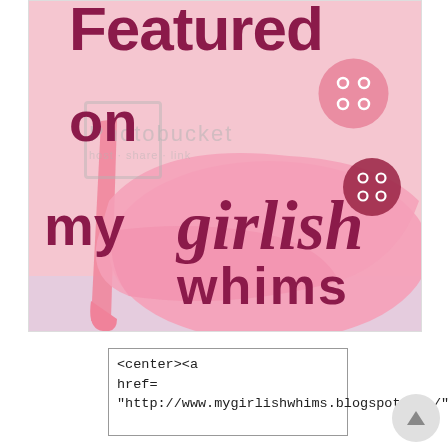[Figure (illustration): Featured on My Girlish Whims blog badge. Pink high-heel shoe illustration on pink background with decorative buttons and text reading 'Featured on my girlish whims'. Photobucket watermark overlay visible.]
<center><a href="http://www.mygirlishwhims.blogspot.com/">